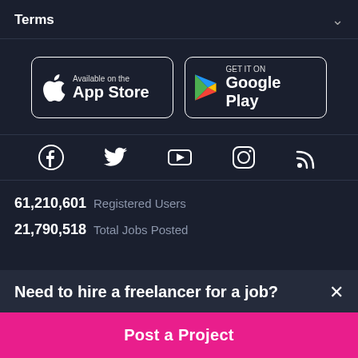Terms
[Figure (screenshot): App Store and Google Play download buttons]
[Figure (infographic): Social media icons: Facebook, Twitter, YouTube, Instagram, RSS]
61,210,601 Registered Users
21,790,518 Total Jobs Posted
Need to hire a freelancer for a job?
Post a Project